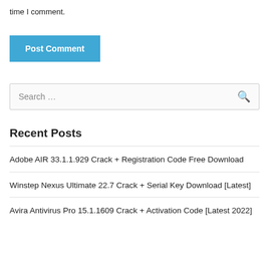time I comment.
Post Comment
Search …
Recent Posts
Adobe AIR 33.1.1.929 Crack + Registration Code Free Download
Winstep Nexus Ultimate 22.7 Crack + Serial Key Download [Latest]
Avira Antivirus Pro 15.1.1609 Crack + Activation Code [Latest 2022]